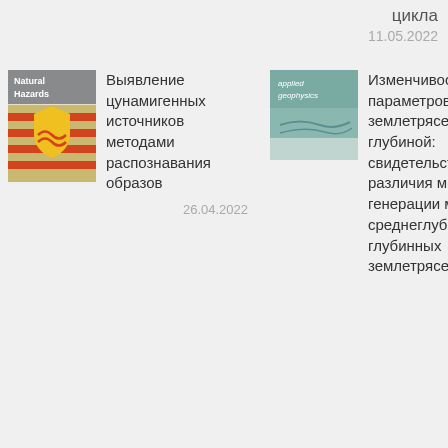цикла
11.05.2022
[Figure (illustration): Natural Hazards journal cover — yellow shield on orange/red striped background]
Выявление цунамигенных источников методами распознавания образов
26.04.2022
[Figure (illustration): Applied Geophysics journal cover — gray-green abstract design]
Изменчивость параметров землетрясений с глубиной: свидетельства различия механизмов генерации мелких, среднеглубинных и глубинных землетрясений
13.04.2022